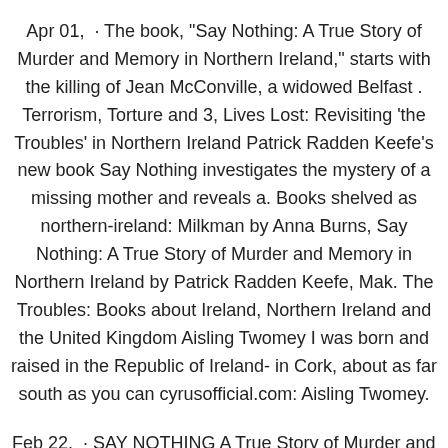Apr 01,  · The book, "Say Nothing: A True Story of Murder and Memory in Northern Ireland," starts with the killing of Jean McConville, a widowed Belfast . Terrorism, Torture and 3, Lives Lost: Revisiting 'the Troubles' in Northern Ireland Patrick Radden Keefe's new book Say Nothing investigates the mystery of a missing mother and reveals a. Books shelved as northern-ireland: Milkman by Anna Burns, Say Nothing: A True Story of Murder and Memory in Northern Ireland by Patrick Radden Keefe, Mak. The Troubles: Books about Ireland, Northern Ireland and the United Kingdom Aisling Twomey I was born and raised in the Republic of Ireland- in Cork, about as far south as you can cyrusofficial.com: Aisling Twomey.
Feb 22,  · SAY NOTHING A True Story of Murder and Memory in Northern Ireland By Patrick Radden Keefe [ This was selected as one of the Book Review's 10